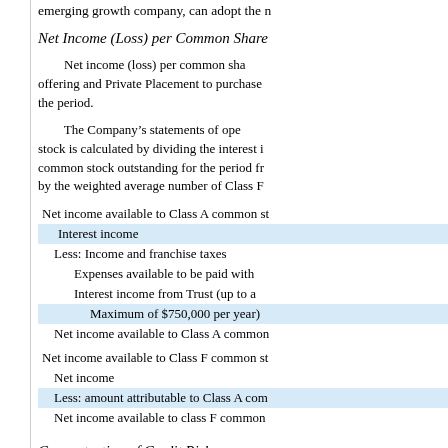emerging growth company, can adopt the n
Net Income (Loss) per Common Share
Net income (loss) per common sha offering and Private Placement to purchase the period.
The Company's statements of ope stock is calculated by dividing the interest i common stock outstanding for the period fr by the weighted average number of Class F
| Net income available to Class A common st |
| Interest income |
| Less: Income and franchise taxes |
| Expenses available to be paid with |
| Interest income from Trust (up to a |
| Maximum of $750,000 per year) |
| Net income available to Class A common |
| Net income available to Class F common st |
| Net income |
| Less: amount attributable to Class A com |
| Net income available to class F common |
Concentration of Credit Risk:
The A hi t th t